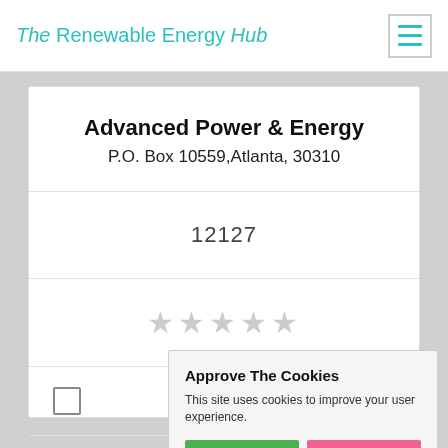The Renewable Energy Hub
Advanced Power & Energy
P.O. Box 10559,Atlanta, 30310
12127
[Figure (other): Five empty star rating icons]
[Figure (screenshot): Cookie consent popup: Approve The Cookies. This site uses cookies to improve your user experience. Accept / Decline buttons. Cookie policy link.]
Get a Q...